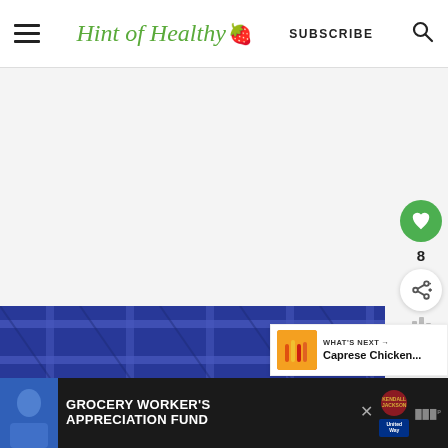Hint of Healthy 🍓 | SUBSCRIBE
[Figure (screenshot): Website screenshot of Hint of Healthy blog. Header with hamburger menu, logo in green italic script with strawberry emoji, SUBSCRIBE text, and search icon. Below is a light grey content area. A dark blue plaid-patterned photo appears at the bottom. Floating action buttons on the right: green heart circle, number 8, white share circle. A 'WHAT'S NEXT' panel shows thumbnail of Caprese Chicken recipe. Bottom ad bar shows 'GROCERY WORKER'S APPRECIATION FUND' with Kendall Jackson and United Way logos.]